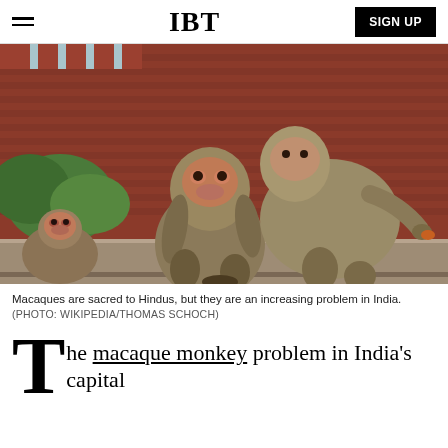IBT | SIGN UP
[Figure (photo): Three rhesus macaque monkeys sitting on a stone ledge in front of a red sandstone wall with green foliage in the background. Two large macaques are prominent in the foreground, one facing the camera with a pink-red face, the other climbing over it. A third smaller macaque is visible in the lower left.]
Macaques are sacred to Hindus, but they are an increasing problem in India.
(PHOTO: WIKIPEDIA/THOMAS SCHOCH)
The macaque monkey problem in India's capital